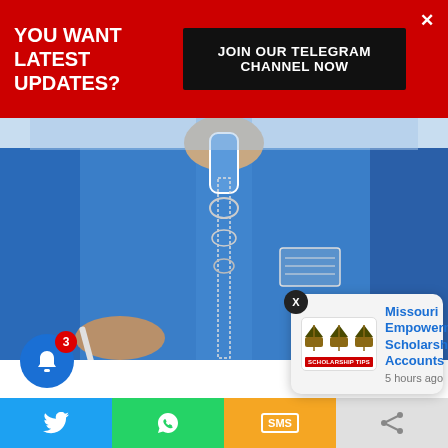YOU WANT LATEST UPDATES?
JOIN OUR TELEGRAM CHANNEL NOW
[Figure (photo): Person wearing a blue traditional embroidered robe/kaftan, holding a pen, writing]
X
Missouri Empowerment Scholarship Accounts
5 hours ago
3
SCHOLARSHIP TIPS